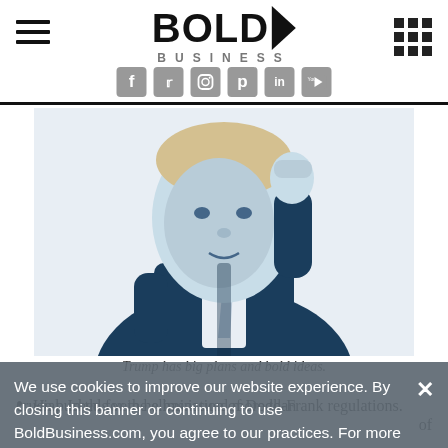BOLD BUSINESS
[Figure (illustration): Stylized duotone illustration of Donald Trump with fist raised, in blue and white tones]
Trump has big plans and bold ideas.
He pushed for the elimination of Dodd-Frank regulations.
We use cookies to improve our website experience. By closing this banner or continuing to use BoldBusiness.com, you agree to our practices. For more infomation, review our Privacy Policy.
crucial. In this vein he has issued more than
of